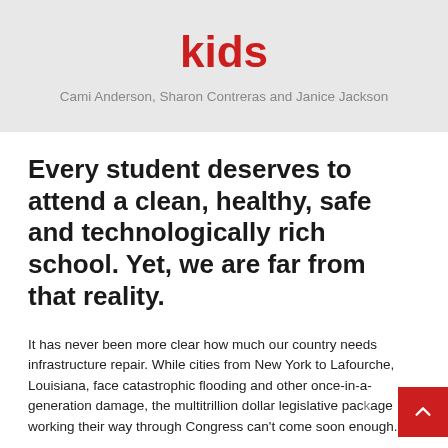kids
Cami Anderson, Sharon Contreras and Janice Jackson
Every student deserves to attend a clean, healthy, safe and technologically rich school. Yet, we are far from that reality.
It has never been more clear how much our country needs infrastructure repair. While cities from New York to Lafourche, Louisiana, face catastrophic flooding and other once-in-a-generation damage, the multitrillion dollar legislative package working their way through Congress can't come soon enough.